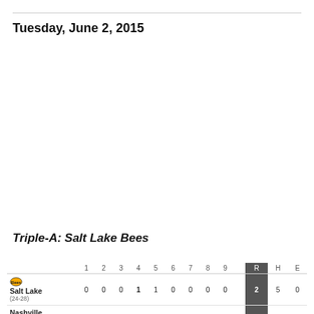Tuesday, June 2, 2015
Triple-A: Salt Lake Bees
|  | 1 | 2 | 3 | 4 | 5 | 6 | 7 | 8 | 9 |  | R | H | E |
| --- | --- | --- | --- | --- | --- | --- | --- | --- | --- | --- | --- | --- | --- |
| Salt Lake (24-28) | 0 | 0 | 0 | 1 | 1 | 0 | 0 | 0 | 0 |  | 2 | 5 | 0 |
| Nashville |  |  |  |  |  |  |  |  |  |  |  |  |  |